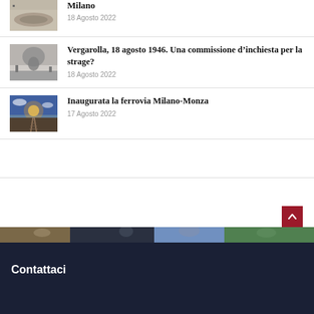[Figure (photo): Cropped top of a news article with an image thumbnail (historical aerial/stadium photo) and partial title 'Milano', date '18 Agosto 2022']
[Figure (photo): Thumbnail image of an explosion/mushroom cloud (black and white historical photo) for article about Vergarolla 1946]
Vergarolla, 18 agosto 1946. Una commissione d’inchiesta per la strage?
18 Agosto 2022
[Figure (photo): Thumbnail image of railway tracks extending into the distance at sunset]
Inaugurata la ferrovia Milano-Monza
17 Agosto 2022
[Figure (photo): Footer banner image strip showing people/outdoor scene]
Contattaci